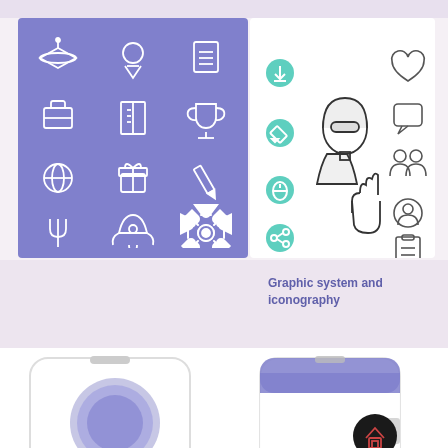[Figure (illustration): Purple panel with white education/work icons arranged in a 3x4 grid: graduation cap, award ribbon, document, briefcase, book, trophy, globe, gift box, pencil, fork/tool, rocket, gear]
[Figure (illustration): White panel with teal circular icons on left (download, edit, lock, share) and outline icons on right (girl avatar, hand waving, heart, speech bubble, people, person, notepad)]
Graphic system and
iconography
[Figure (screenshot): Blurry phone mockup on left with purple circle blur, and phone mockup on right showing app with purple header, back-to-top button, and dark home button with house icon]